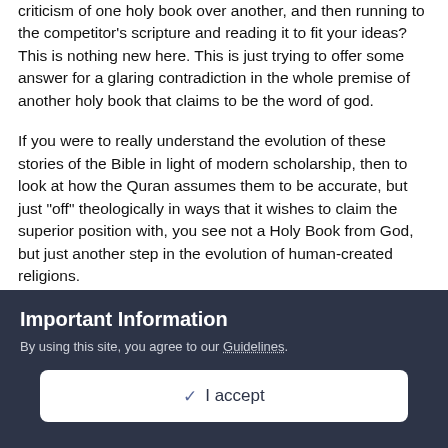criticism of one holy book over another, and then running to the competitor's scripture and reading it to fit your ideas? This is nothing new here. This is just trying to offer some answer for a glaring contradiction in the whole premise of another holy book that claims to be the word of god.
If you were to really understand the evolution of these stories of the Bible in light of modern scholarship, then to look at how the Quran assumes them to be accurate, but just "off" theologically in ways that it wishes to claim the superior position with, you see not a Holy Book from God, but just another step in the evolution of human-created religions.
Is the Quran the actual words of Mohammad? Exactly what is the oldest surviving manuscript? To my knowledge it is 150 years after the life of Mohammed, and all the other competing
Important Information
By using this site, you agree to our Guidelines.
✓  I accept